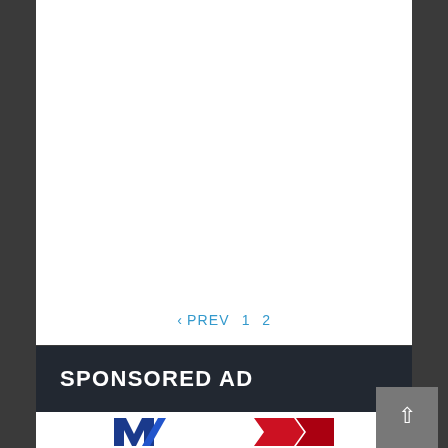[Figure (other): White content area (main article body, mostly blank/empty in this view)]
< PREV  1  2
SPONSORED AD
[Figure (logo): Partial logo visible at bottom — blue and red M-shaped logo with red chevron/flag element to the right]